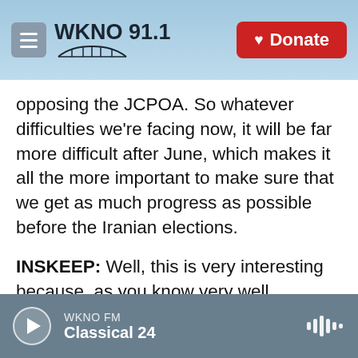WKNO 91.1 | Donate
opposing the JCPOA. So whatever difficulties we're facing now, it will be far more difficult after June, which makes it all the more important to make sure that we get as much progress as possible before the Iranian elections.
INSKEEP: Well, this is very interesting because, as you know very well, Iranians vote for reform-minded people and people who want better relations with the West when they get a chance. We never know just how free and fair the elections really are. And they're, of course, managed by the Iranian regime. But is it not possible that somebody
WKNO FM | Classical 24